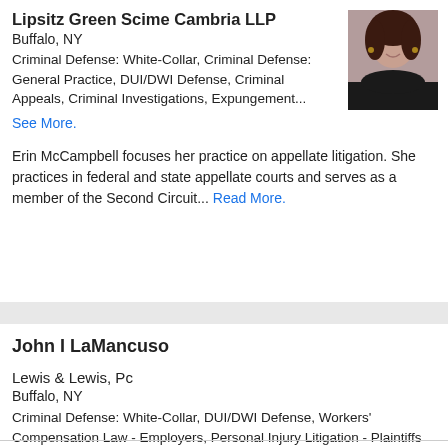Lipsitz Green Scime Cambria LLP
Buffalo, NY
Criminal Defense: White-Collar, Criminal Defense: General Practice, DUI/DWI Defense, Criminal Appeals, Criminal Investigations, Expungement...
See More.
[Figure (photo): Headshot photo of attorney, woman with dark hair, black jacket]
Erin McCampbell focuses her practice on appellate litigation. She practices in federal and state appellate courts and serves as a member of the Second Circuit... Read More.
John I LaMancuso
Lewis & Lewis, Pc
Buffalo, NY
Criminal Defense: White-Collar, DUI/DWI Defense, Workers' Compensation Law - Employers, Personal Injury Litigation - Plaintiffs
Back To Top